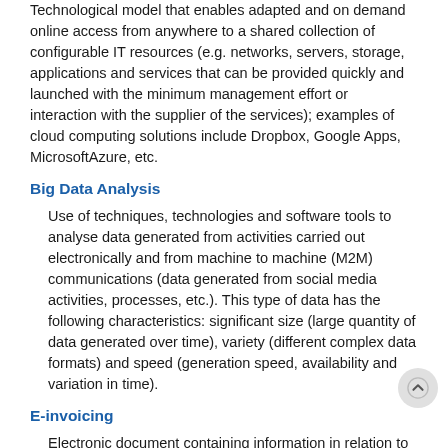Technological model that enables adapted and on demand online access from anywhere to a shared collection of configurable IT resources (e.g. networks, servers, storage, applications and services that can be provided quickly and launched with the minimum management effort or interaction with the supplier of the services); examples of cloud computing solutions include Dropbox, Google Apps, MicrosoftAzure, etc.
Big Data Analysis
Use of techniques, technologies and software tools to analyse data generated from activities carried out electronically and from machine to machine (M2M) communications (data generated from social media activities, processes, etc.). This type of data has the following characteristics: significant size (large quantity of data generated over time), variety (different complex data formats) and speed (generation speed, availability and variation in time).
E-invoicing
Electronic document containing information in relation to the invoice. A differentiation is made between two types of e-invo...
Those in standard format that can be used for automatic